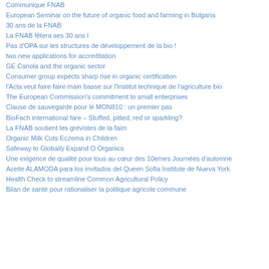Communique FNAB
European Seminar on the future of organic food and farming in Bulgaria
30 ans de la FNAB
La FNAB fêtera ses 30 ans l
Pas d'OPA sur les structures de développement de la bio !
two new applications for accreditation
GE Canola and the organic sector
Consumer group expects sharp rise in organic certification
l'Acta veut faire faire main basse sur l'Institut technique de l'agriculture bio
The European Commission's commitment to small enterprises
Clause de sauvegarde pour le MON810 : un premier pas
BioFach international fare – Stuffed, pitted, red or sparkling?
La FNAB soutient les grévistes de la faim
Organic Milk Cuts Eczema in Children
Safeway to Globally Expand O Organics
Une exigence de qualité pour tous au cœur des 10emes Journées d'automne
Aceite ALAMODA para los invitados del Queen Sofia Institute de Nueva York
Health Check to streamline Common Agricultural Policy
Bilan de santé pour rationaliser la politique agricole commune